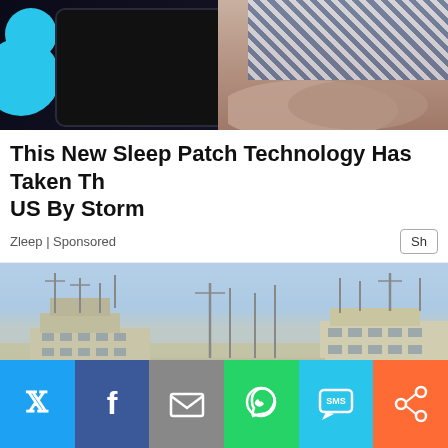[Figure (photo): Top photo showing a tablet device and person's hands with patterned clothing, dark background with blue circles]
This New Sleep Patch Technology Has Taken The US By Storm
Zleep | Sponsored
[Figure (photo): Photo of a large military or cargo ship on the water against a light blue sky]
[Figure (infographic): Social media share bar with Twitter, Facebook, Email, WhatsApp, SMS, and share buttons]